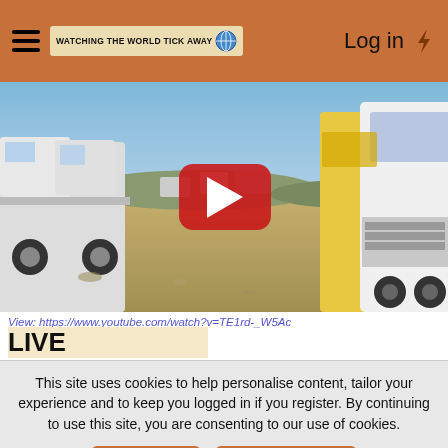WATCHING THE WORLD TICK AWAY   Log in
[Figure (screenshot): YouTube video thumbnail showing trucks parked on a dirt field. A red YouTube play button is centered on the image.]
View: https://www.youtube.com/watch?v=TE1rd-_W5Ac
LIVE
This site uses cookies to help personalise content, tailor your experience and to keep you logged in if you register. By continuing to use this site, you are consenting to our use of cookies.